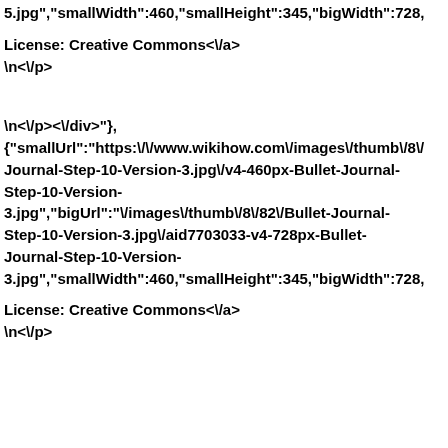5.jpg","smallWidth":460,"smallHeight":345,"bigWidth":728,
License: Creative Commons<\/a>
\n<\/p>
\n<\/p><\/div>"},
{"smallUrl":"https:\/\/www.wikihow.com\/images\/thumb\/8\/Journal-Step-10-Version-3.jpg\/v4-460px-Bullet-Journal-Step-10-Version-3.jpg","bigUrl":"\/images\/thumb\/8\/82\/Bullet-Journal-Step-10-Version-3.jpg\/aid7703033-v4-728px-Bullet-Journal-Step-10-Version-3.jpg","smallWidth":460,"smallHeight":345,"bigWidth":728,
License: Creative Commons<\/a>
\n<\/p>